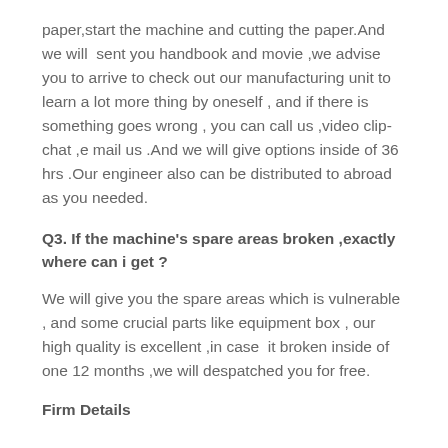paper,start the machine and cutting the paper.And we will  sent you handbook and movie ,we advise you to arrive to check out our manufacturing unit to learn a lot more thing by oneself , and if there is something goes wrong , you can call us ,video clip-chat ,e mail us .And we will give options inside of 36 hrs .Our engineer also can be distributed to abroad as you needed.
Q3. If the machine's spare areas broken ,exactly where can i get ?
We will give you the spare areas which is vulnerable , and some crucial parts like equipment box , our high quality is excellent ,in case  it broken inside of one 12 months ,we will despatched you for free.
Firm Details